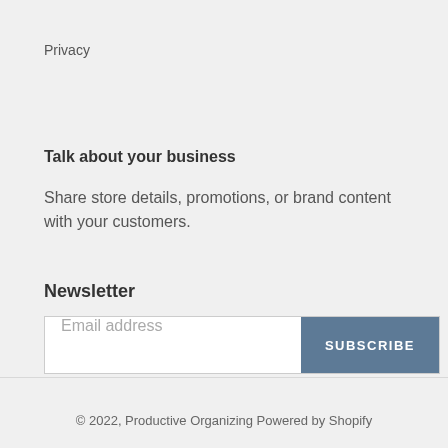Privacy
Talk about your business
Share store details, promotions, or brand content with your customers.
Newsletter
Email address
SUBSCRIBE
© 2022, Productive Organizing Powered by Shopify